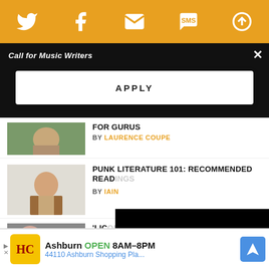Social share bar with Twitter, Facebook, Email, SMS, and another icon
Call for Music Writers
APPLY
For Gurus BY LAURENCE COUPE
PUNK LITERATURE 101: RECOMMENDED READINGS
BY IAIN [author name cut off]
[Figure (screenshot): Video player overlay showing black screen with play button and 00:00 timestamp]
'LIC[ORICE PIZZA?] TRIC[K?]
BY MIC[hael?]
MIKE PARADINAS ON HIS IDM SOUND FRO[M]
THE 1990S TO NOW...
Ashburn OPEN 8AM-8PM 44110 Ashburn Shopping Pla...